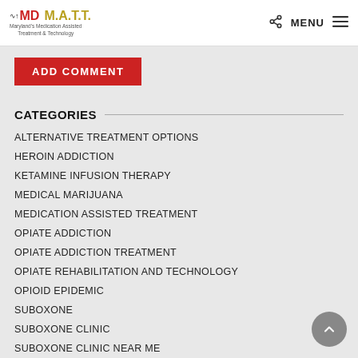MD M.A.T.T. — Maryland's Medication Assisted Treatment & Technology — MENU
ADD COMMENT
CATEGORIES
ALTERNATIVE TREATMENT OPTIONS
HEROIN ADDICTION
KETAMINE INFUSION THERAPY
MEDICAL MARIJUANA
MEDICATION ASSISTED TREATMENT
OPIATE ADDICTION
OPIATE ADDICTION TREATMENT
OPIATE REHABILITATION AND TECHNOLOGY
OPIOID EPIDEMIC
SUBOXONE
SUBOXONE CLINIC
SUBOXONE CLINIC NEAR ME